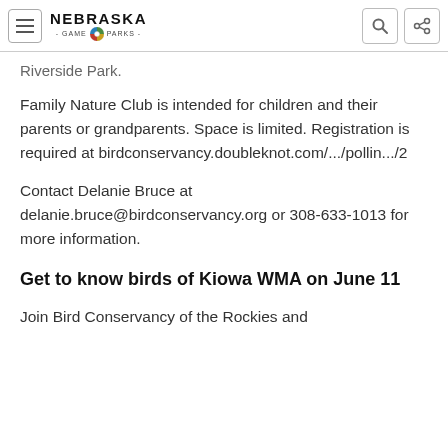Nebraska Game and Parks
Riverside Park.
Family Nature Club is intended for children and their parents or grandparents. Space is limited. Registration is required at birdconservancy.doubleknot.com/.../pollin.../2
Contact Delanie Bruce at delanie.bruce@birdconservancy.org or 308-633-1013 for more information.
Get to know birds of Kiowa WMA on June 11
Join Bird Conservancy of the Rockies and